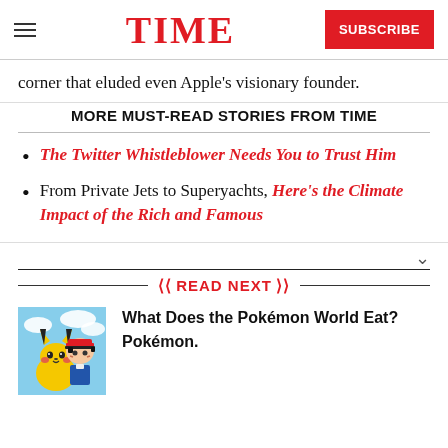TIME | SUBSCRIBE
corner that eluded even Apple's visionary founder.
MORE MUST-READ STORIES FROM TIME
The Twitter Whistleblower Needs You to Trust Him
From Private Jets to Superyachts, Here's the Climate Impact of the Rich and Famous
READ NEXT
[Figure (photo): Ash from Pokemon anime holding Pikachu with blue sky background]
What Does the Pokémon World Eat? Pokémon.